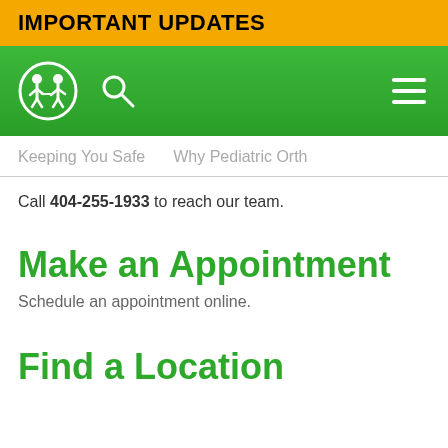IMPORTANT UPDATES
[Figure (screenshot): Green navigation bar with a pediatric orthopedics logo (circle with two children silhouettes), a search icon, and a hamburger menu icon on the right]
Keeping You Safe   Why Pediatric Orth
Call 404-255-1933 to reach our team.
Make an Appointment
Schedule an appointment online.
Find a Location